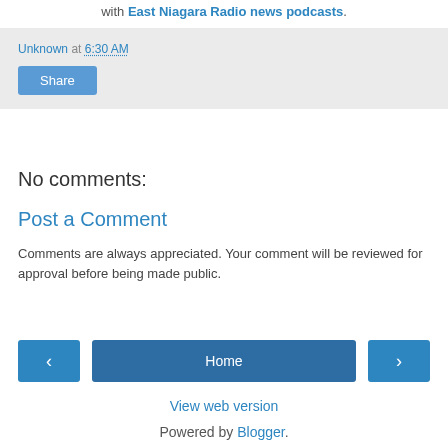with East Niagara Radio news podcasts.
Unknown at 6:30 AM
Share
No comments:
Post a Comment
Comments are always appreciated. Your comment will be reviewed for approval before being made public.
‹
Home
›
View web version
Powered by Blogger.